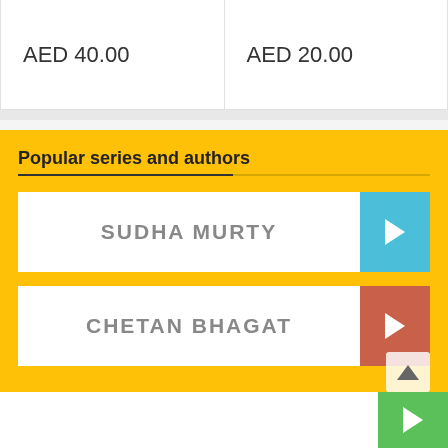| AED 40.00 | AED 20.00 |
Popular series and authors
SUDHA MURTY
CHETAN BHAGAT
(partial, cut off at bottom)